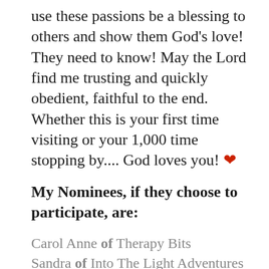use these passions be a blessing to others and show them God’s love! They need to know! May the Lord find me trusting and quickly obedient, faithful to the end. Whether this is your first time visiting or your 1,000 time stopping by.... God loves you! ❤
My Nominees, if they choose to participate, are:
Carol Anne of Therapy Bits
Sandra of Into The Light Adventures
Savannah of Rejoicing In Hope
Phoebe of Phoebe, MD: Medicine & Poetry
Jen of Jen’s Life
Chelsea of Chelsea’s Animated Balm